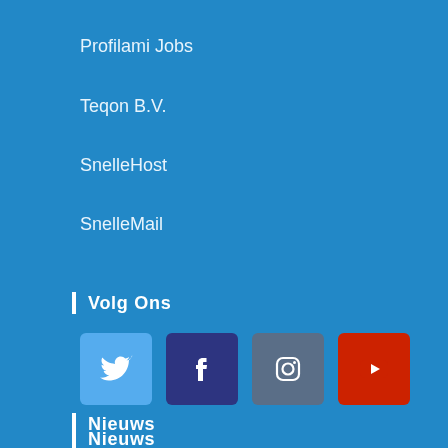Profilami Jobs
Teqon B.V.
SnelleHost
SnelleMail
Volg Ons
[Figure (infographic): Four social media icon buttons: Twitter (light blue), Facebook (dark blue/purple), Instagram (slate blue-gray), YouTube (red)]
Nieuws
Onze Blog